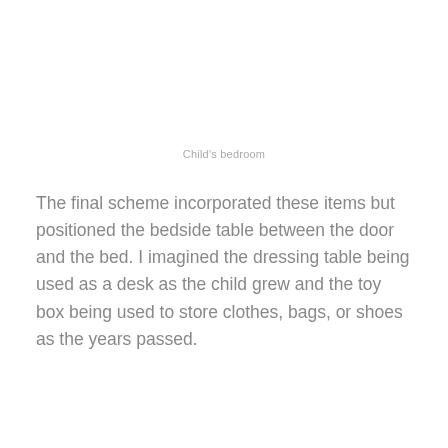Child's bedroom
The final scheme incorporated these items but positioned the bedside table between the door and the bed. I imagined the dressing table being used as a desk as the child grew and the toy box being used to store clothes, bags, or shoes as the years passed.